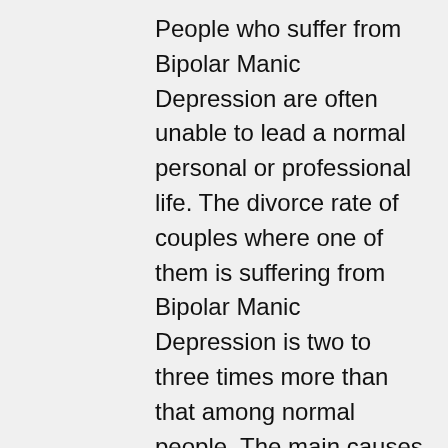People who suffer from Bipolar Manic Depression are often unable to lead a normal personal or professional life. The divorce rate of couples where one of them is suffering from Bipolar Manic Depression is two to three times more than that among normal people. The main causes of Bipolar Manic Depression are biological – i.e. the presence of the incidence of mental sickness in the family. However, in certain individuals, the symptoms may only be triggered by the occurrence of an unpleasant life event such as the loss of a dear one, loss of job, divorce or some other similar event. The